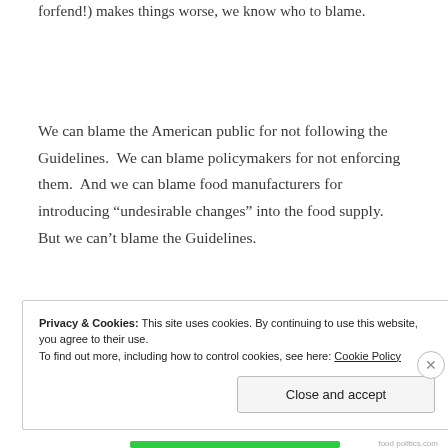forfend!) makes things worse, we know who to blame.
We can blame the American public for not following the Guidelines.  We can blame policymakers for not enforcing them.  And we can blame food manufacturers for introducing “undesirable changes” into the food supply.  But we can’t blame the Guidelines.
They’re too slick for that.
Privacy & Cookies: This site uses cookies. By continuing to use this website, you agree to their use.
To find out more, including how to control cookies, see here: Cookie Policy